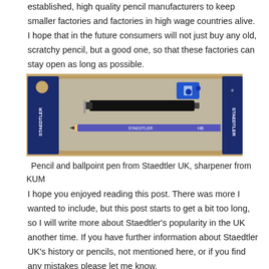established, high quality pencil manufacturers to keep smaller factories and factories in high wage countries alive. I hope that in the future consumers will not just buy any old, scratchy pencil, but a good one, so that these factories can stay open as long as possible.
[Figure (photo): Staedtler branded product packaging containing a pencil, ballpoint pen, and a blue KUM pencil sharpener, displayed on a cardboard/wood surface.]
Pencil and ballpoint pen from Staedtler UK, sharpener from KUM
I hope you enjoyed reading this post. There was more I wanted to include, but this post starts to get a bit too long, so I will write more about Staedtler's popularity in the UK another time. If you have further information about Staedtler UK's history or pencils, not mentioned here, or if you find any mistakes please let me know.